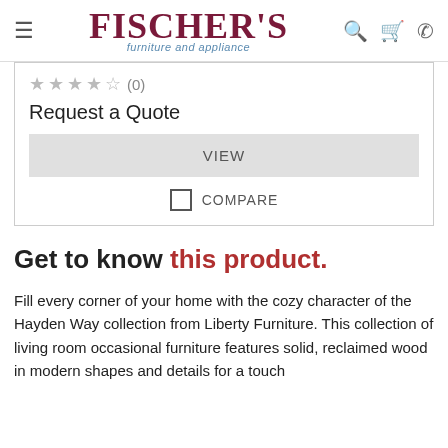FISCHER'S furniture and appliance
(0) Request a Quote
VIEW
COMPARE
Get to know this product.
Fill every corner of your home with the cozy character of the Hayden Way collection from Liberty Furniture. This collection of living room occasional furniture features solid, reclaimed wood in modern shapes and details for a touch